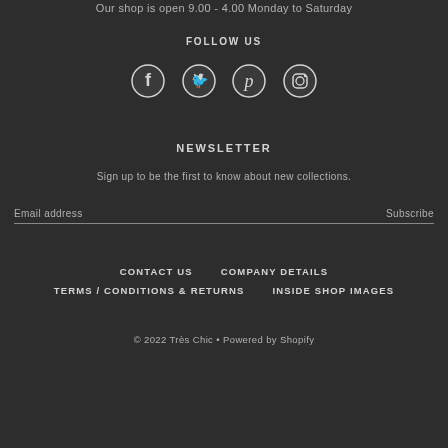Our shop is open 9.00 - 4.00 Monday to Saturday
FOLLOW US
[Figure (illustration): Social media icons: Facebook, Twitter, Pinterest, Instagram]
NEWSLETTER
Sign up to be the first to know about new collections.
Email address   Subscribe
CONTACT US
COMPANY DETAILS
TERMS / CONDITIONS & RETURNS
INSIDE SHOP IMAGES
© 2022 Très Chic • Powered by Shopify